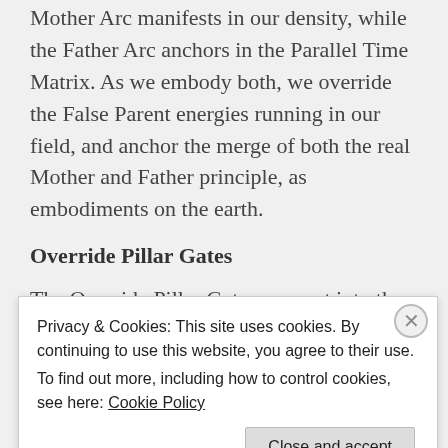Mother Arc manifests in our density, while the Father Arc anchors in the Parallel Time Matrix. As we embody both, we override the False Parent energies running in our field, and anchor the merge of both the real Mother and Father principle, as embodiments on the earth.
Override Pillar Gates
The Override Pillar Gates connect into the parallel quadrants holding the earth body and all parallels
Privacy & Cookies: This site uses cookies. By continuing to use this website, you agree to their use.
To find out more, including how to control cookies, see here: Cookie Policy